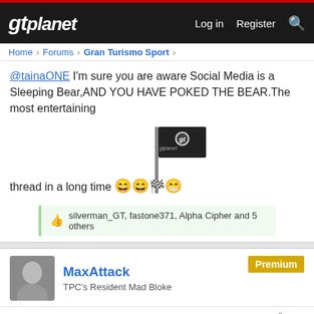gtplanet | Log in  Register
Home > Forums > Gran Turismo Sport >
@tainaONE I'm sure you are aware Social Media is a Sleeping Bear,AND YOU HAVE POKED THE BEAR.The most entertaining thread in a long time 😄😄🏁😁
silverman_GT, fastone371, Alpha Cipher and 5 others
MaxAttack — Premium — TPC's Resident Mad Bloke
Nov 6, 2019  #81
Lord of Tranz 💬